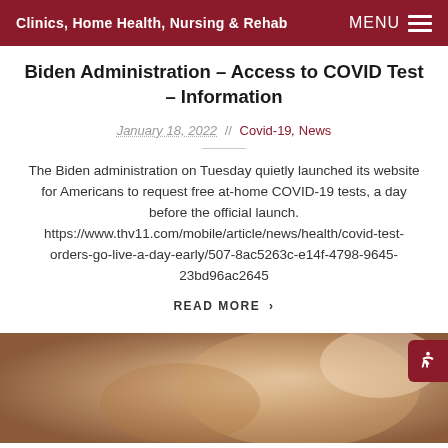Clinics, Home Health, Nursing & Rehab
Biden Administration – Access to COVID Test – Information
January 18, 2022 // Covid-19, News
The Biden administration on Tuesday quietly launched its website for Americans to request free at-home COVID-19 tests, a day before the official launch. https://www.thv11.com/mobile/article/news/health/d covid-test-orders-go-live-a-day-early/507-8ac5263c-e14f-4798-9645-23bd96ac2645
READ MORE ›
[Figure (photo): Close-up photo of hands or medical object with warm beige/tan tones]